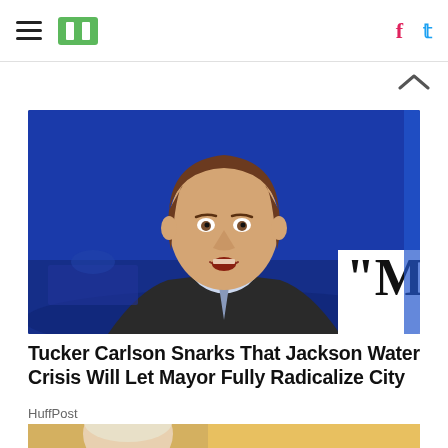HuffPost navigation bar with hamburger menu, logo, Facebook and Twitter icons
[Figure (photo): Tucker Carlson speaking on Fox News with blue background and a split screen showing a quote graphic with quotation mark visible]
Tucker Carlson Snarks That Jackson Water Crisis Will Let Mayor Fully Radicalize City
HuffPost
[Figure (photo): Partial photo of another person, bottom of page, cropped]